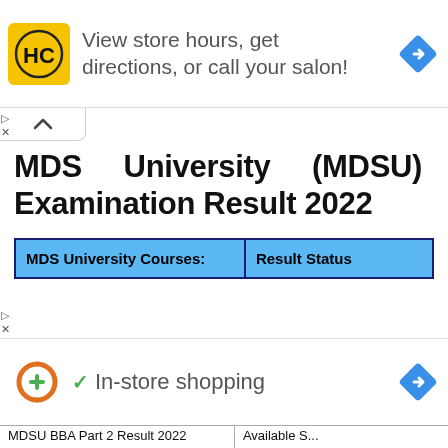[Figure (screenshot): Advertisement banner: HC logo (yellow square with HC text), text 'View store hours, get directions, or call your salon!', blue diamond arrow icon on right]
[Figure (screenshot): Collapse/accordion tab with upward chevron (^)]
MDS University (MDSU) Examination Result 2022
| MDS University Courses: | Result Status |
| --- | --- |
[Figure (screenshot): Advertisement banner: orange plus/D logo, green checkmark with 'In-store shopping' text, blue diamond arrow icon on right]
MDSU BBA Part 2 Result 2022   Available S...